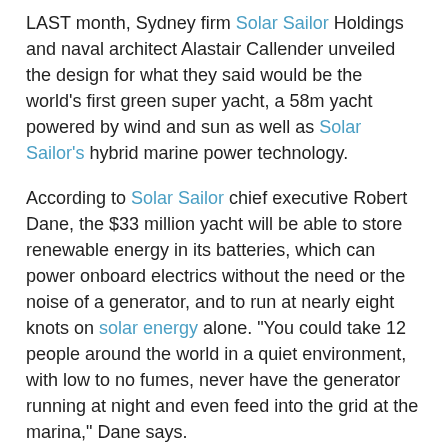LAST month, Sydney firm Solar Sailor Holdings and naval architect Alastair Callender unveiled the design for what they said would be the world's first green super yacht, a 58m yacht powered by wind and sun as well as Solar Sailor's hybrid marine power technology.
According to Solar Sailor chief executive Robert Dane, the $33 million yacht will be able to store renewable energy in its batteries, which can power onboard electrics without the need or the noise of a generator, and to run at nearly eight knots on solar energy alone. "You could take 12 people around the world in a quiet environment, with low to no fumes, never have the generator running at night and even feed into the grid at the marina," Dane says.
Solar Sailor created its first solar vessel in time for the Sydney Olympics and it has been in use since by Captain Cook Cruises, as well as acting as its research and development vessel. In November the company will launch the first of four vessels being built in China for the Hong Kong ferry authority, and it is helping design drone vessels